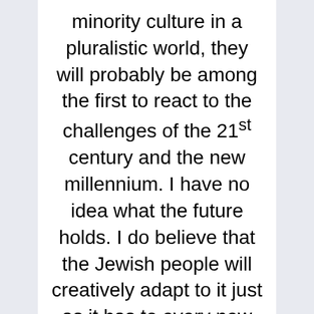minority culture in a pluralistic world, they will probably be among the first to react to the challenges of the 21st century and the new millennium. I have no idea what the future holds. I do believe that the Jewish people will creatively adapt to it just as it has to every new civilization that has arisen since the days of the ancient Babylonians and Egyptians four millennia ago. I do believe that the